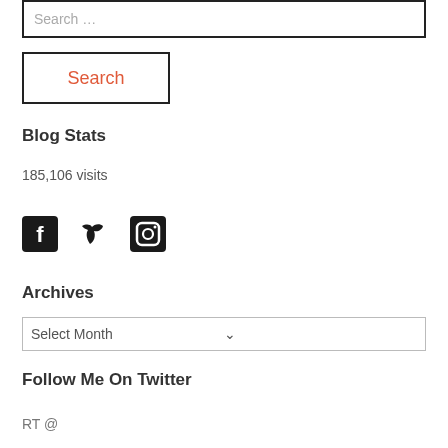Search ...
Search
Blog Stats
185,106 visits
[Figure (illustration): Social media icons: Facebook, Twitter, Instagram]
Archives
Select Month
Follow Me On Twitter
RT @